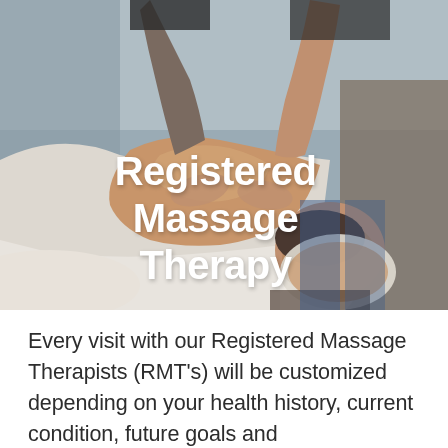[Figure (photo): A registered massage therapist performing a back massage on a male patient lying face-down on a massage table with a white sheet. The therapist, a woman with long brown hair wearing a dark floral top, stands behind the patient using both hands on his upper back/shoulder area. The setting appears to be a clinical or spa environment with a grey/neutral background.]
Registered Massage Therapy
Every visit with our Registered Massage Therapists (RMT's) will be customized depending on your health history, current condition, future goals and